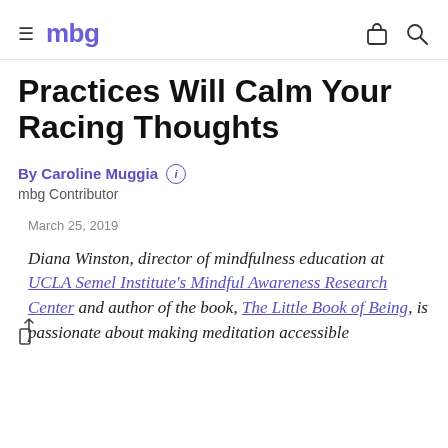mbg
Practices Will Calm Your Racing Thoughts
By Caroline Muggia  mbg Contributor
March 25, 2019
Diana Winston, director of mindfulness education at UCLA Semel Institute's Mindful Awareness Research Center and author of the book, The Little Book of Being, is passionate about making meditation accessible